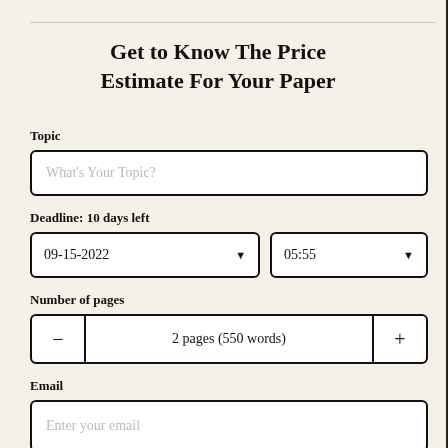Get to Know The Price Estimate For Your Paper
Topic
What's Your Topic?
Deadline: 10 days left
09-15-2022
05:55
Number of pages
2 pages (550 words)
Email
Enter your email
By clicking "Check Writers' Offers", you agree to our terms of service and privacy